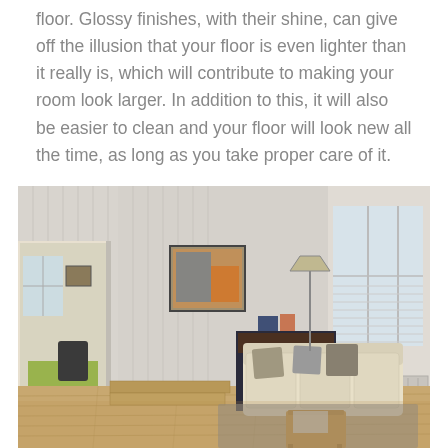floor. Glossy finishes, with their shine, can give off the illusion that your floor is even lighter than it really is, which will contribute to making your room look larger. In addition to this, it will also be easier to clean and your floor will look new all the time, as long as you take proper care of it.
[Figure (photo): Interior photo of a bright open-plan living room with light hardwood floors, a cream sofa, a navy/dark cabinet, a framed painting on the wall, large windows with white shutters/blinds, a view through an open doorway to an adjoining room with green rug, and a gray area rug on the floor.]